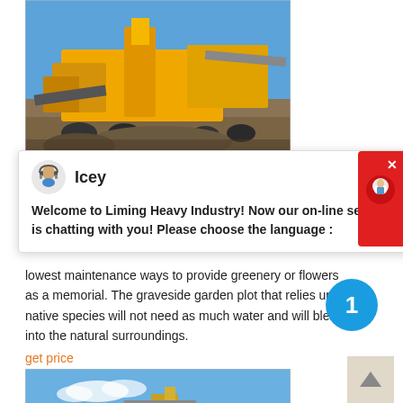[Figure (photo): Mining/quarry equipment — yellow heavy machinery and conveyor belts under a clear blue sky outdoors]
[Figure (screenshot): Live chat popup from Liming Heavy Industry website featuring avatar 'Icey' with message: Welcome to Liming Heavy Industry! Now our on-line service is chatting with you! Please choose the language :]
lowest maintenance ways to provide greenery or flowers as a memorial. The graveside garden plot that relies upon native species will not need as much water and will blend into the natural surroundings.
get price
[Figure (photo): Mining/quarry machinery and rock pile under blue sky with clouds]